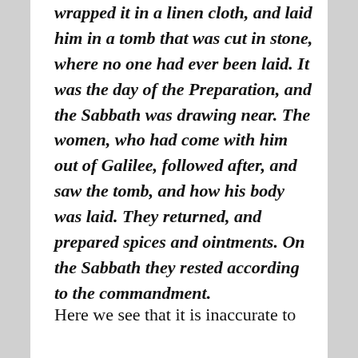wrapped it in a linen cloth, and laid him in a tomb that was cut in stone, where no one had ever been laid. It was the day of the Preparation, and the Sabbath was drawing near. The women, who had come with him out of Galilee, followed after, and saw the tomb, and how his body was laid. They returned, and prepared spices and ointments. On the Sabbath they rested according to the commandment.
Here we see that it is inaccurate to